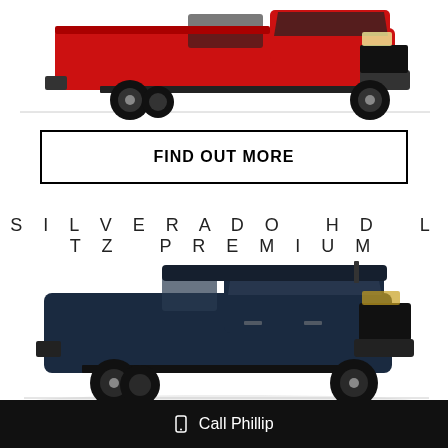[Figure (photo): Side profile of a red Chevrolet Silverado pickup truck on white background]
FIND OUT MORE
SILVERADO HD LTZ PREMIUM
[Figure (photo): Side profile of a dark navy/blue Chevrolet Silverado HD LTZ Premium pickup truck on white background]
📱 Call Phillip